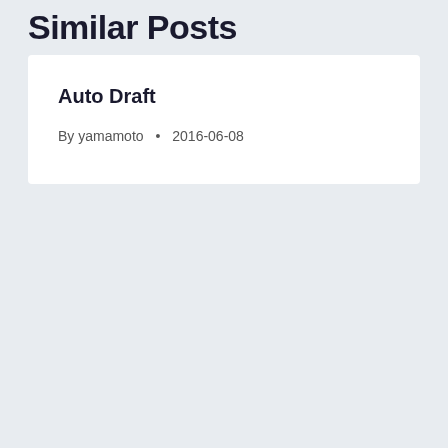Similar Posts
Auto Draft
By yamamoto • 2016-06-08
[Figure (other): Navigation carousel with left arrow button and right arrow button on a light blue-gray background]